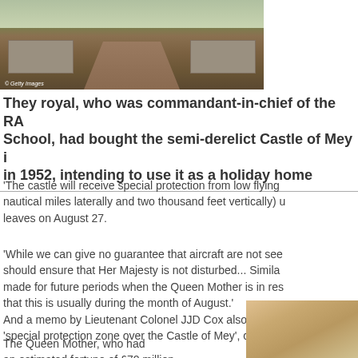[Figure (photo): Aerial or ground-level view of Castle of Mey driveway with stone walls and green lawn, Getty Images watermark]
They royal, who was commandant-in-chief of the RA School, had bought the semi-derelict Castle of Mey in 1952, intending to use it as a holiday home
'The castle will receive special protection from low flying nautical miles laterally and two thousand feet vertically) u leaves on August 27.
'While we can give no guarantee that aircraft are not see should ensure that Her Majesty is not disturbed... Simila made for future periods when the Queen Mother is in res that this is usually during the month of August.'
And a memo by Lieutenant Colonel JJD Cox also allude 'special protection zone over the Castle of Mey', created
The Queen Mother, who had an estimated fortune of £70 million,
[Figure (photo): Partial view of a decorative gold/bronze object, bottom right corner]